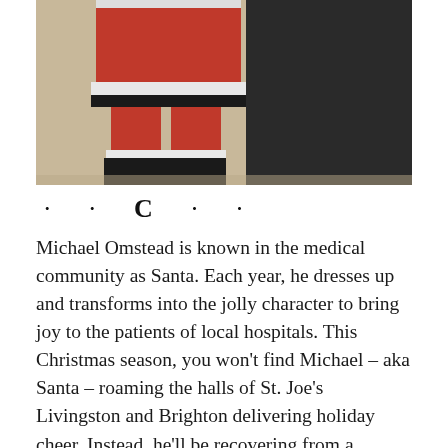[Figure (photo): Photo showing the lower body of a person dressed as Santa Claus (red suit, black boots, white fur trim) standing next to a person in a dark coat, in what appears to be a hospital hallway.]
· · C · ·
Michael Omstead is known in the medical community as Santa. Each year, he dresses up and transforms into the jolly character to bring joy to the patients of local hospitals. This Christmas season, you won't find Michael – aka Santa – roaming the halls of St. Joe's Livingston and Brighton delivering holiday cheer. Instead, he'll be recovering from a serious bout of COVID-19.